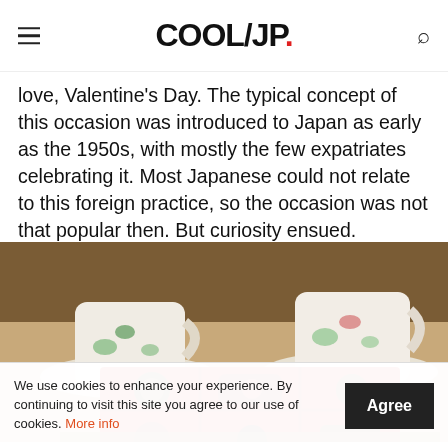COOL/JP.
love, Valentine's Day. The typical concept of this occasion was introduced to Japan as early as the 1950s, with mostly the few expatriates celebrating it. Most Japanese could not relate to this foreign practice, so the occasion was not that popular then. But curiosity ensued.
[Figure (photo): A red box of assorted chocolates in front of floral-patterned tea cups on saucers, suggesting a Valentine's Day or gift-giving setting.]
We use cookies to enhance your experience. By continuing to visit this site you agree to our use of cookies. More info